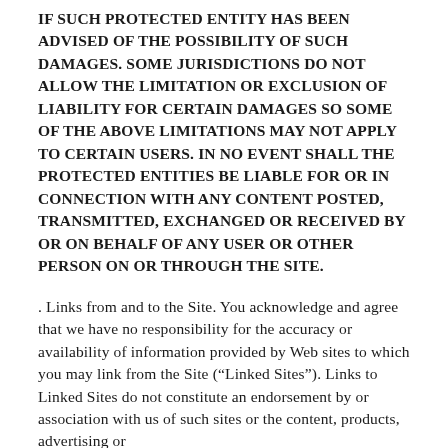IF SUCH PROTECTED ENTITY HAS BEEN ADVISED OF THE POSSIBILITY OF SUCH DAMAGES. SOME JURISDICTIONS DO NOT ALLOW THE LIMITATION OR EXCLUSION OF LIABILITY FOR CERTAIN DAMAGES SO SOME OF THE ABOVE LIMITATIONS MAY NOT APPLY TO CERTAIN USERS. IN NO EVENT SHALL THE PROTECTED ENTITIES BE LIABLE FOR OR IN CONNECTION WITH ANY CONTENT POSTED, TRANSMITTED, EXCHANGED OR RECEIVED BY OR ON BEHALF OF ANY USER OR OTHER PERSON ON OR THROUGH THE SITE.
. Links from and to the Site. You acknowledge and agree that we have no responsibility for the accuracy or availability of information provided by Web sites to which you may link from the Site (“Linked Sites”). Links to Linked Sites do not constitute an endorsement by or association with us of such sites or the content, products, advertising or